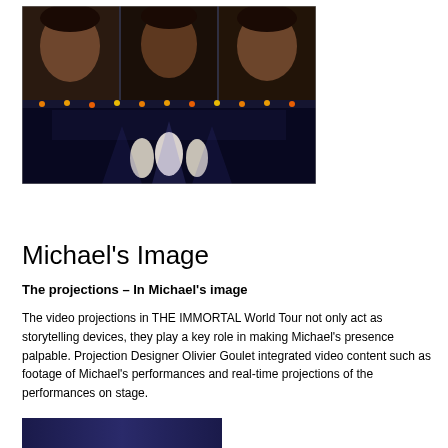[Figure (photo): Concert stage photo showing three large projection screens displaying Michael Jackson's face at the top, with performers on stage below, lit by dramatic stage lighting in blue and orange tones]
Michael's Image
The projections – In Michael's image
The video projections in THE IMMORTAL World Tour not only act as storytelling devices, they play a key role in making Michael's presence palpable. Projection Designer Olivier Goulet integrated video content such as footage of Michael's performances and real-time projections of the performances on stage.
[Figure (photo): Partial view of another concert photo at the bottom of the page]